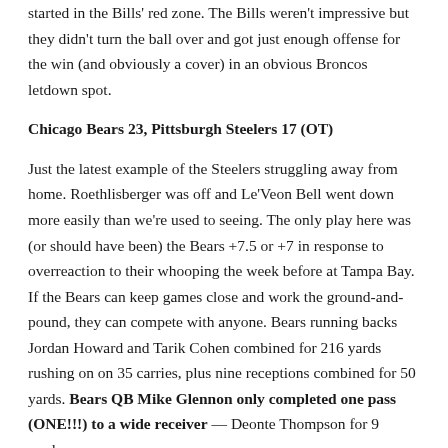started in the Bills' red zone. The Bills weren't impressive but they didn't turn the ball over and got just enough offense for the win (and obviously a cover) in an obvious Broncos letdown spot.
Chicago Bears 23, Pittsburgh Steelers 17 (OT)
Just the latest example of the Steelers struggling away from home. Roethlisberger was off and Le'Veon Bell went down more easily than we're used to seeing. The only play here was (or should have been) the Bears +7.5 or +7 in response to overreaction to their whooping the week before at Tampa Bay. If the Bears can keep games close and work the ground-and-pound, they can compete with anyone. Bears running backs Jordan Howard and Tarik Cohen combined for 216 yards rushing on on 35 carries, plus nine receptions combined for 50 yards. Bears QB Mike Glennon only completed one pass (ONE!!!) to a wide receiver — Deonte Thompson for 9 yards.